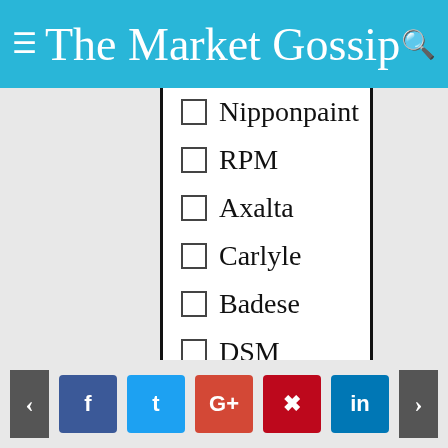The Market Gossip
Nipponpaint
RPM
Axalta
Carlyle
Badese
DSM
Levi
Chinapaint
SKShu
< f t G+ p in >